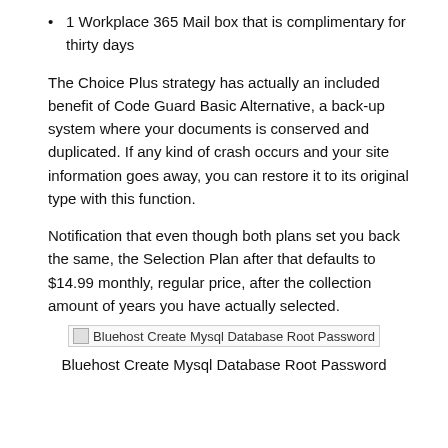1 Workplace 365 Mail box that is complimentary for thirty days
The Choice Plus strategy has actually an included benefit of Code Guard Basic Alternative, a back-up system where your documents is conserved and duplicated. If any kind of crash occurs and your site information goes away, you can restore it to its original type with this function.
Notification that even though both plans set you back the same, the Selection Plan after that defaults to $14.99 monthly, regular price, after the collection amount of years you have actually selected.
[Figure (other): Broken image placeholder labeled 'Bluehost Create Mysql Database Root Password']
Bluehost Create Mysql Database Root Password